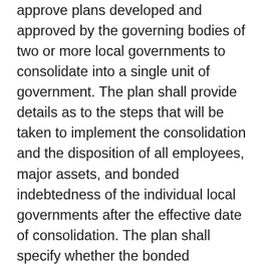approve plans developed and approved by the governing bodies of two or more local governments to consolidate into a single unit of government. The plan shall provide details as to the steps that will be taken to implement the consolidation and the disposition of all employees, major assets, and bonded indebtedness of the individual local governments after the effective date of consolidation. The plan shall specify whether the bonded indebtedness of the individual units of government shall be merged, or whether the property owners of the area of each existing local unit of government shall continue to be held responsible for retiring the debts of the individual units of government. A plan for a